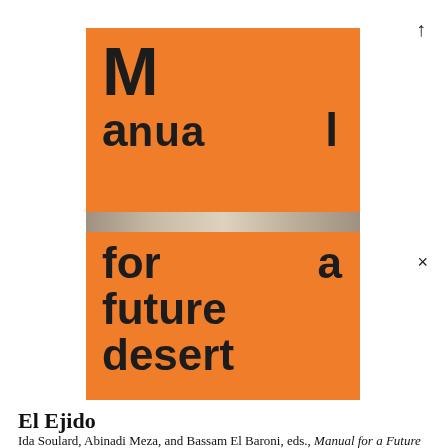[Figure (photo): Book cover of 'Manual for a Future Desert' — orange background with large bold dark text reading 'M / anual l / for a / future / desert', with a horizontal photographic stripe across the middle of the cover]
El Ejido
Ida Soulard, Abinadi Meza, and Bassam El Baroni, eds., Manual for a Future Desert (Milan: Mousse Publishing). — 2021